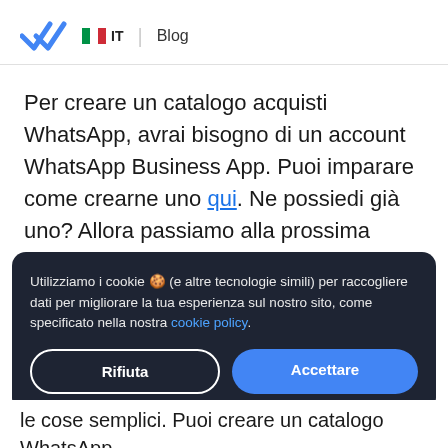IT Blog
Per creare un catalogo acquisti WhatsApp, avrai bisogno di un account WhatsApp Business App. Puoi imparare come crearne uno qui. Ne possiedi già uno? Allora passiamo alla prossima parte.
Utilizziamo i cookie 🍪 (e altre tecnologie simili) per raccogliere dati per migliorare la tua esperienza sul nostro sito, come specificato nella nostra cookie policy.
le cose semplici. Puoi creare un catalogo WhatsApp